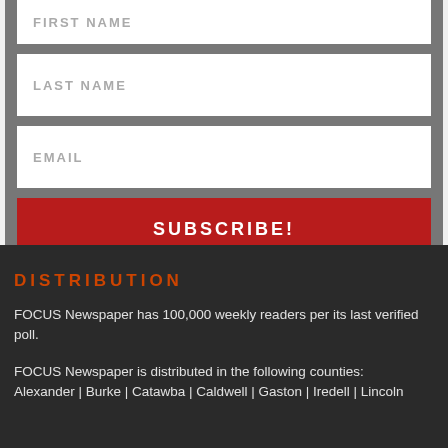FIRST NAME
LAST NAME
EMAIL
SUBSCRIBE!
DISTRIBUTION
FOCUS Newspaper has 100,000 weekly readers per its last verified poll.
FOCUS Newspaper is distributed in the following counties: Alexander | Burke | Catawba | Caldwell | Gaston | Iredell | Lincoln